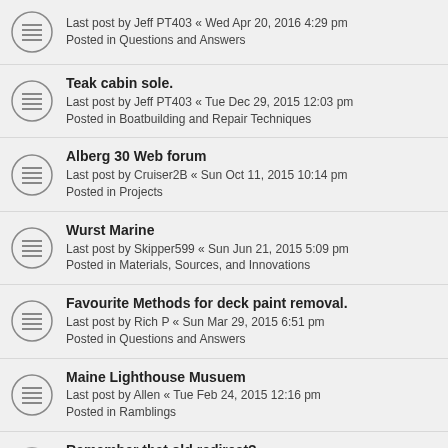Last post by Jeff PT403 « Wed Apr 20, 2016 4:29 pm
Posted in Questions and Answers
Teak cabin sole.
Last post by Jeff PT403 « Tue Dec 29, 2015 12:03 pm
Posted in Boatbuilding and Repair Techniques
Alberg 30 Web forum
Last post by Cruiser2B « Sun Oct 11, 2015 10:14 pm
Posted in Projects
Wurst Marine
Last post by Skipper599 « Sun Jun 21, 2015 5:09 pm
Posted in Materials, Sources, and Innovations
Favourite Methods for deck paint removal.
Last post by Rich P « Sun Mar 29, 2015 6:51 pm
Posted in Questions and Answers
Maine Lighthouse Musuem
Last post by Allen « Tue Feb 24, 2015 12:16 pm
Posted in Ramblings
Remember that old redirect?
Last post by TampaBay « Mon Jan 19, 2015 10:37 am
Posted in Questions and Answers